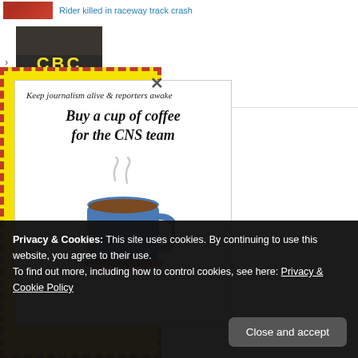Rider killed in raceway track crash
[Figure (photo): Person wearing a black CBC jacket, seen from behind showing the yellow CBC logo]
harged over guns
[Figure (infographic): Yellow background with red dashed border donation popup: Keep journalism alive & reporters awake. Buy a cup of coffee for the CNS team. Illustration of a blue coffee cup with steam.]
Keep journalism alive & reporters awake
Buy a cup of coffee
for the CNS team
Privacy & Cookies: This site uses cookies. By continuing to use this website, you agree to their use.
To find out more, including how to control cookies, see here: Privacy & Cookie Policy
Close and accept